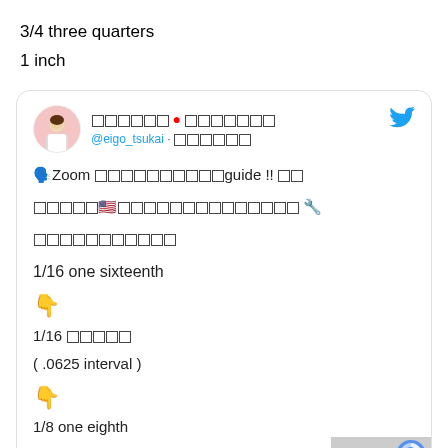3/4 three quarters
1 inch
[Figure (screenshot): A Twitter/social media post card from user @eigo_tsukai about a Zoom guide in Japanese, containing fractions: 1/16 one sixteenth, 1/16 (.0625 interval), 1/8 one eighth, 3/16 three sixteenths]